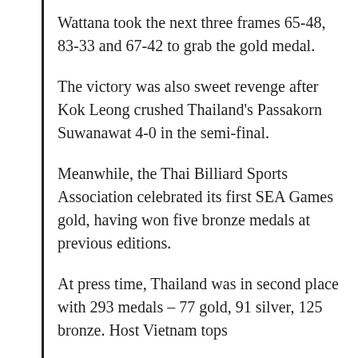Wattana took the next three frames 65-48, 83-33 and 67-42 to grab the gold medal.
The victory was also sweet revenge after Kok Leong crushed Thailand's Passakorn Suwanawat 4-0 in the semi-final.
Meanwhile, the Thai Billiard Sports Association celebrated its first SEA Games gold, having won five bronze medals at previous editions.
At press time, Thailand was in second place with 293 medals – 77 gold, 91 silver, 125 bronze. Host Vietnam tops